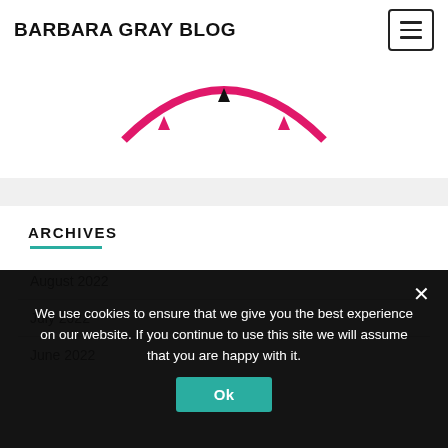BARBARA GRAY BLOG
[Figure (illustration): Partial pink/magenta crown or logo graphic on white background, cropped at top]
ARCHIVES
August 2022
July 2022
June 2022
We use cookies to ensure that we give you the best experience on our website. If you continue to use this site we will assume that you are happy with it.